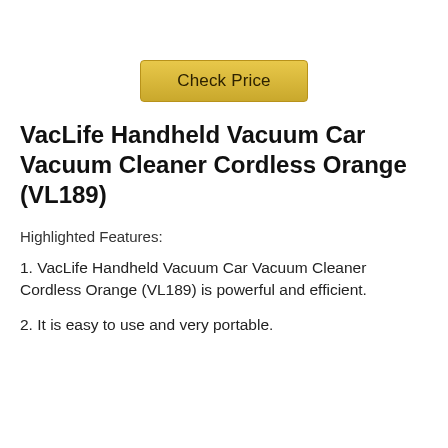[Figure (other): Check Price button with golden/yellow gradient background and border]
VacLife Handheld Vacuum Car Vacuum Cleaner Cordless Orange (VL189)
Highlighted Features:
1. VacLife Handheld Vacuum Car Vacuum Cleaner Cordless Orange (VL189) is powerful and efficient.
2. It is easy to use and very portable.